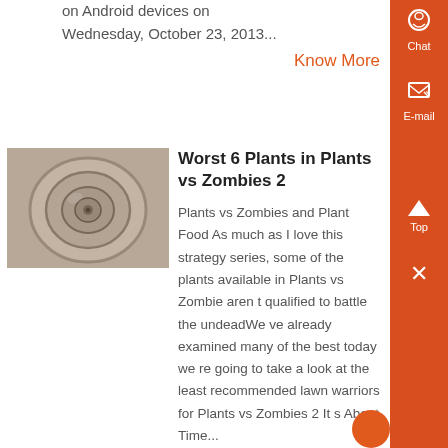on Android devices on Wednesday, October 23, 2013...
Know More
Worst 6 Plants in Plants vs Zombies 2
[Figure (photo): A close-up photo of what appears to be a circular metal or stone object with concentric rings, resembling an old bowl or mechanism viewed from above.]
Plants vs Zombies and Plant Food As much as I love this strategy series, some of the plants available in Plants vs Zombie aren t qualified to battle the undeadWe ve already examined many of the best today we re going to take a look at the least recommended lawn warriors for Plants vs Zombies 2 It s About Time...